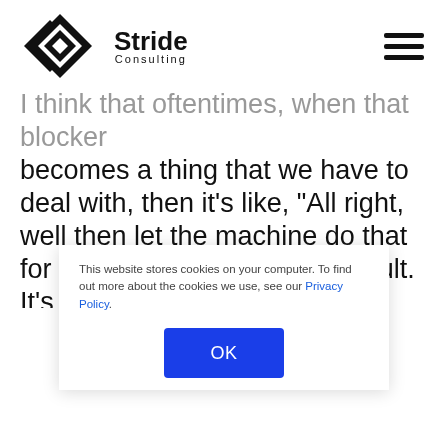[Figure (logo): Stride Consulting logo with geometric diamond/arrow icon and text 'Stride Consulting']
I think that oftentimes, when that blocker becomes a thing that we have to deal with, then it’s like, “All right, well then let the machine do that for us.” It becomes really difficult. It’s like correcting someone for their handwriting. I find that to be like, “Do I, if I write this, am I...
This website stores cookies on your computer. To find out more about the cookies we use, see our Privacy Policy.